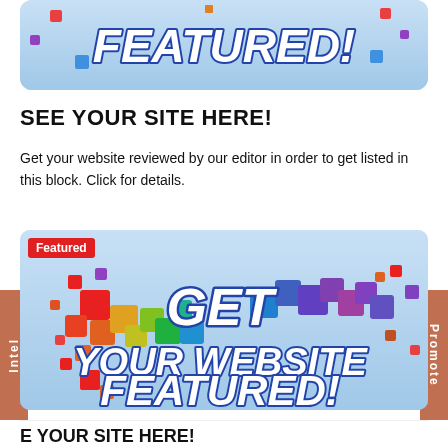[Figure (illustration): Blue gradient banner with bold italic white text reading FEATURED! with blue outline, colorful confetti squares]
SEE YOUR SITE HERE!
Get your website reviewed by our editor in order to get listed in this block. Click for details.
[Figure (illustration): Featured badge banner with colorful scattered squares in rainbow colors and bold italic white text: GET YOUR WEBSITE FEATURED!]
E YOUR SITE HERE!